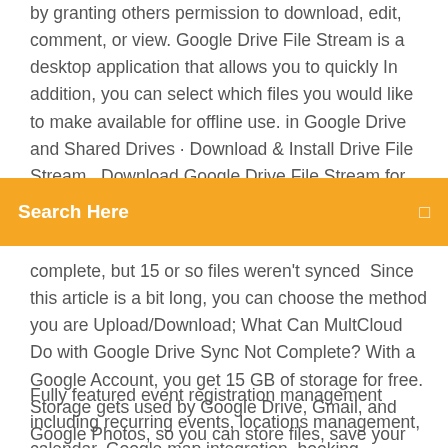by granting others permission to download, edit, comment, or view. Google Drive File Stream is a desktop application that allows you to quickly In addition, you can select which files you would like to make available for offline use. in Google Drive and Shared Drives · Download & Install Drive File Stream  Download Google Drive File Stream for Mac or Windows. You must be
[Figure (screenshot): Orange search bar with white text 'Search Here' and a small icon on the right]
complete, but 15 or so files weren't synced  Since this article is a bit long, you can choose the method you are Upload/Download; What Can MultCloud Do with Google Drive Sync Not Complete? With a Google Account, you get 15 GB of storage for free. Storage gets used by Google Drive, Gmail, and Google Photos, so you can store files, save your email
Fully featured event registration management including recurring events, locations management, calendar, Google map integration, booking management The company's title,